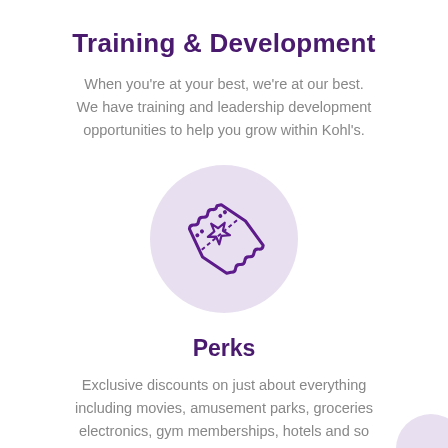Training & Development
When you're at your best, we're at our best. We have training and leadership development opportunities to help you grow within Kohl's.
[Figure (illustration): A circular light purple icon showing a ticket/pass with a star on it, rendered in purple line art.]
Perks
Exclusive discounts on just about everything including movies, amusement parks, groceries electronics, gym memberships, hotels and so much more.